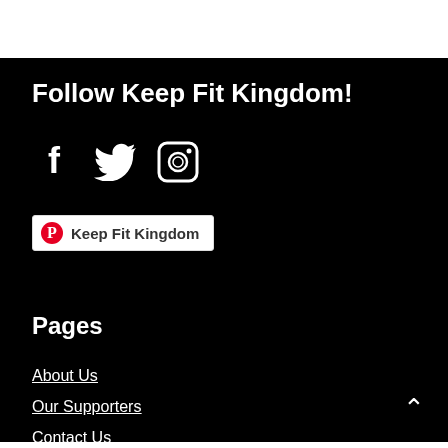Follow Keep Fit Kingdom!
[Figure (illustration): Social media icons: Facebook (f), Twitter (bird), Instagram (camera)]
[Figure (other): Pinterest button with Pinterest logo and text 'Keep Fit Kingdom']
Pages
About Us
Our Supporters
Contact Us
[Figure (infographic): Advertisement: Order a 6-Pack or Party Box — Crumbl Cookies - Ashburn, with logo and navigation arrow]